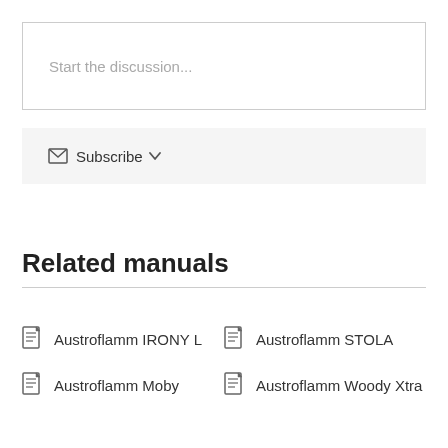Start the discussion...
Subscribe
Related manuals
Austroflamm IRONY L
Austroflamm STOLA
Austroflamm Moby
Austroflamm Woody Xtra